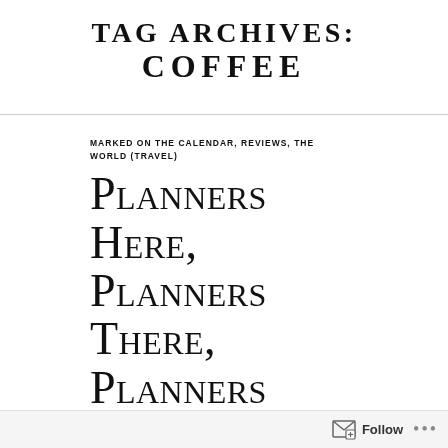Tag Archives: Coffee
MARKED ON THE CALENDAR, REVIEWS, THE WORLD (TRAVEL)
Planners Here, Planners There, Planners Everywhere
Follow